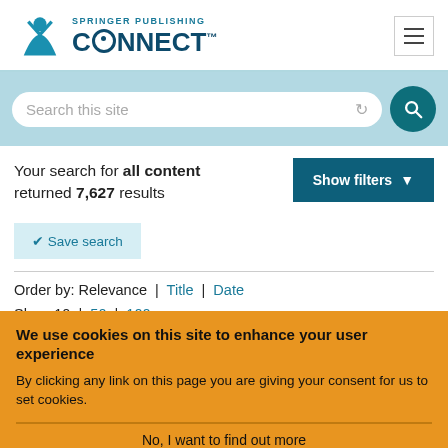[Figure (logo): Springer Publishing Connect logo with teal figure icon and text]
Search this site
Your search for all content returned 7,627 results
Show filters ▼
✓ Save search
Order by: Relevance | Title | Date
Show 10 | 50 | 100 per page
We use cookies on this site to enhance your user experience
By clicking any link on this page you are giving your consent for us to set cookies.
No, I want to find out more